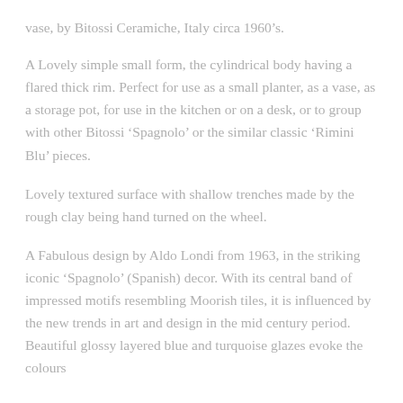vase, by Bitossi Ceramiche, Italy circa 1960's.
A Lovely simple small form, the cylindrical body having a flared thick rim. Perfect for use as a small planter, as a vase, as a storage pot, for use in the kitchen or on a desk, or to group with other Bitossi ‘Spagnolo’ or the similar classic ‘Rimini Blu’ pieces.
Lovely textured surface with shallow trenches made by the rough clay being hand turned on the wheel.
A Fabulous design by Aldo Londi from 1963, in the striking iconic ‘Spagnolo’ (Spanish) decor. With its central band of impressed motifs resembling Moorish tiles, it is influenced by the new trends in art and design in the mid century period. Beautiful glossy layered blue and turquoise glazes evoke the colours